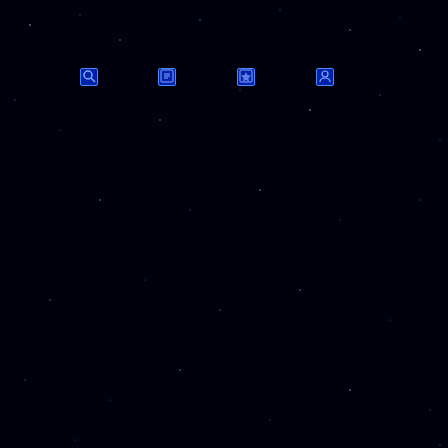UNIWAR
Search | Recent | Hottest | Login
Forum Index » Recent
|  | Topic | Views |
| --- | --- | --- |
| [icon] | Payment from Russia | 26 |
| [icon] | New Units | 847 |
| [icon] | As to hit point | 2068 |
| [icon] | Plague Remedy | 2361 |
| [icon] | Todays Mission - Facehuggers | 5817 |
| [icon] | A message to Duaneski, concerning 360 hour (15 day) ban. | 2921 |
| [icon] | Vote of No Confidence. | 2883 |
| [icon] | Tank abilities | 3992 |
| [icon] | Teams are not getting random games.. | 4924 |
| [icon] | Mississippi Flag Change | 3058 |
| [icon] | Uniwar Pro Account Stopped Working | 6295 |
| [icon] | Supply path needed for self repair/healing | 4360 |